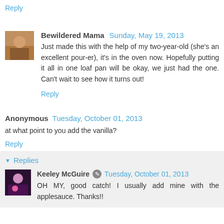Reply
Bewildered Mama  Sunday, May 19, 2013
Just made this with the help of my two-year-old (she's an excellent pour-er), it's in the oven now. Hopefully putting it all in one loaf pan will be okay, we just had the one. Can't wait to see how it turns out!
Reply
Anonymous  Tuesday, October 01, 2013
at what point to you add the vanilla?
Reply
Replies
Keeley McGuire  Tuesday, October 01, 2013
OH MY, good catch! I usually add mine with the applesauce. Thanks!!